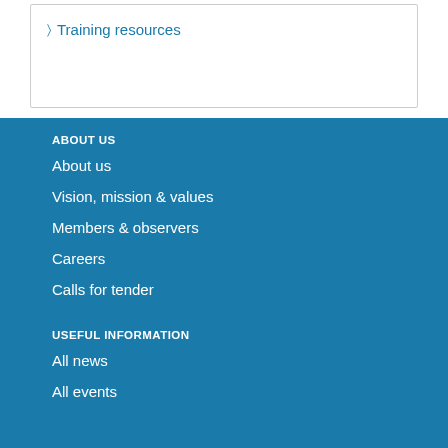Training resources
ABOUT US
About us
Vision, mission & values
Members & observers
Careers
Calls for tender
USEFUL INFORMATION
All news
All events